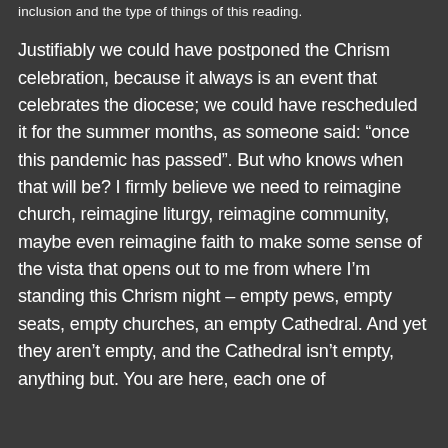inclusion and the type of things of this reading.
Justifiably we could have postponed the Chrism celebration, because it always is an event that celebrates the diocese; we could have rescheduled it for the summer months, as someone said: “once this pandemic has passed”. But who knows when that will be? I firmly believe we need to reimagine church, reimagine liturgy, reimagine community, maybe even reimagine faith to make some sense of the vista that opens out to me from where I’m standing this Chrism night – empty pews, empty seats, empty churches, an empty Cathedral. And yet they aren’t empty, and the Cathedral isn’t empty, anything but. You are here, each one of